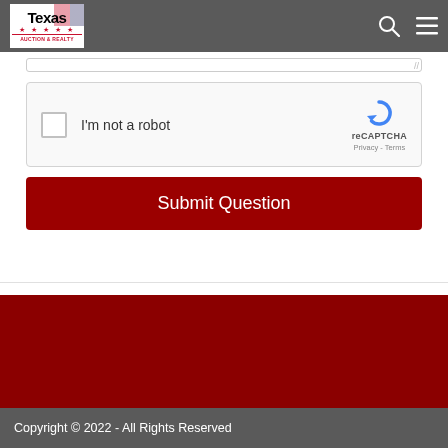Texas Auction & Realty
[Figure (screenshot): reCAPTCHA widget with checkbox labeled 'I'm not a robot' and Google reCAPTCHA logo with Privacy and Terms links]
Submit Question
Copyright © 2022 - All Rights Reserved